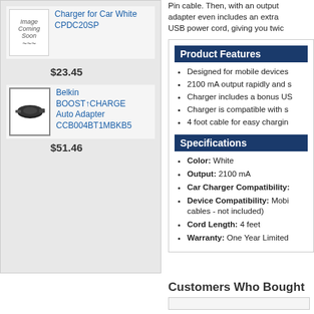[Figure (photo): Image Coming Soon placeholder for car charger product CPDC20SP]
Charger for Car White CPDC20SP
$23.45
[Figure (photo): Photo of Belkin BOOST↑CHARGE Auto Adapter CCB004BT1MBKB5, a black cylindrical car charger]
Belkin BOOST&uarr;CHARGE Auto Adapter CCB004BT1MBKB5
$51.46
Pin cable. Then, with an output adapter even includes an extra USB power cord, giving you twic
Product Features
Designed for mobile devices
2100 mA output rapidly and s
Charger includes a bonus US
Charger is compatible with s
4 foot cable for easy chargin
Specifications
Color: White
Output: 2100 mA
Car Charger Compatibility:
Device Compatibility: Mobi cables - not included)
Cord Length: 4 feet
Warranty: One Year Limited
Customers Who Bought